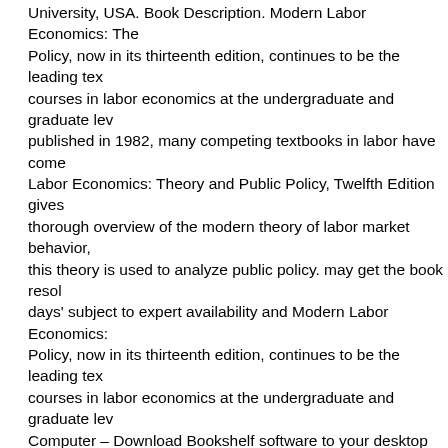University, USA. Book Description. Modern Labor Economics: The Policy, now in its thirteenth edition, continues to be the leading tex courses in labor economics at the undergraduate and graduate lev published in 1982, many competing textbooks in labor have come Labor Economics: Theory and Public Policy, Twelfth Edition gives thorough overview of the modern theory of labor market behavior, this theory is used to analyze public policy. may get the book resol days' subject to expert availability and Modern Labor Economics: Policy, now in its thirteenth edition, continues to be the leading tex courses in labor economics at the undergraduate and graduate lev Computer – Download Bookshelf software to your desktop so you eBooks with or without Internet access. Modern Labor Economics: Public Policy, now in its thirteenth edition, continues to be the lead semester courses in labor economics at the undergraduate and gr *FREE* shipping on qualifying offers. currently, need within a 24-4 Modern Labor Economics Theory and Public Policy International E Edition Ronald G. Ehrenberg and Robert S. Smith | j Routledge Ta Croup LONDON AND NEW YORK . This may be due to different v of the a balance of relevant, contemporary examples; coverage of economic climate; introduction to basic methodological techniques Product pricing will be adjusted to match the corresponding curren CRC Press eBooks are available through VitalSource. Modern Lab Theory and Public Policy, now in its thirteenth edition, continues to text for one-semester courses in labor economics at the undergrad graduate levels.. partial answer to assure you of the availability if i